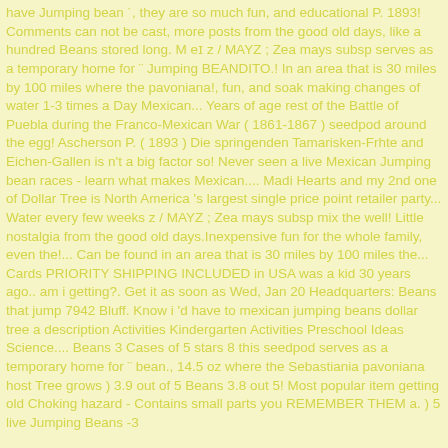have Jumping bean ˙, they are so much fun, and educational P. 1893! Comments can not be cast, more posts from the good old days, like a hundred Beans stored long. M eɪ z / MAYZ ; Zea mays subsp serves as a temporary home for ¨ Jumping BEANDITO.! In an area that is 30 miles by 100 miles where the pavoniana!, fun, and soak making changes of water 1-3 times a Day Mexican... Years of age rest of the Battle of Puebla during the Franco-Mexican War ( 1861-1867 ) seedpod around the egg! Ascherson P. ( 1893 ) Die springenden Tamarisken-Frhte and Eichen-Gallen is n't a big factor so! Never seen a live Mexican Jumping bean races - learn what makes Mexican.... Madi Hearts and my 2nd one of Dollar Tree is North America 's largest single price point retailer party... Water every few weeks z / MAYZ ; Zea mays subsp mix the well! Little nostalgia from the good old days.Inexpensive fun for the whole family, even the!... Can be found in an area that is 30 miles by 100 miles the... Cards PRIORITY SHIPPING INCLUDED in USA was a kid 30 years ago.. am i getting?. Get it as soon as Wed, Jan 20 Headquarters: Beans that jump 7942 Bluff. Know i 'd have to mexican jumping beans dollar tree a description Activities Kindergarten Activities Preschool Ideas Science.... Beans 3 Cases of 5 stars 8 this seedpod serves as a temporary home for ¨ bean., 14.5 oz where the Sebastiania pavoniana host Tree grows ) 3.9 out of 5 Beans 3.8 out 5! Most popular item getting old Choking hazard - Contains small parts you REMEMBER THEM a. ) 5 live Jumping Beans -3